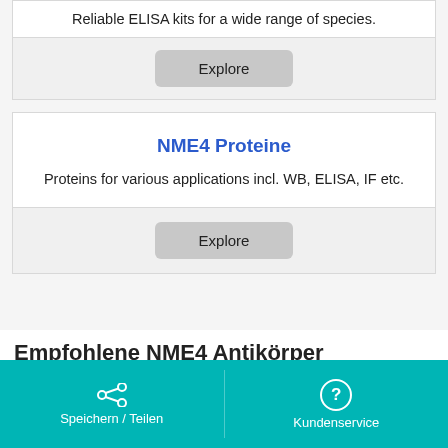Reliable ELISA kits for a wide range of species.
Explore
NME4 Proteine
Proteins for various applications incl. WB, ELISA, IF etc.
Explore
Empfohlene NME4 Antikörper
Speichern / Teilen    Kundenservice